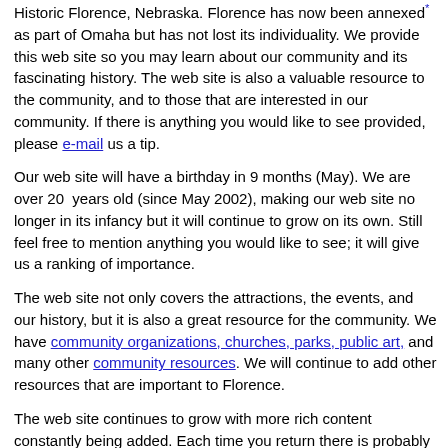Historic Florence, Nebraska.  Florence has now been annexed* as part of Omaha but has not lost its individuality.  We provide this web site so you may learn about our community and its fascinating history.  The web site is also a valuable resource to the community, and to those that are interested in our community.  If there is anything you would like to see provided, please e-mail us a tip.
Our web site will have a birthday in 9 months (May).  We are over 20  years old (since May 2002), making our web site no longer in its infancy but it will continue to grow on its own. Still feel free to mention anything you would like to see; it will give us a ranking of importance.
The web site not only covers the attractions, the events, and our history, but it is also a great resource for the community.  We have community organizations, churches, parks, public art, and many other community resources.  We will continue to add other resources that are important to Florence.
The web site continues to grow with more rich content constantly being added.  Each time you return there is probably something new that you have not seen.  If you have not already done so, make sure you visit the Help" id="gcs_as_contentExistsColor_idB48527243">Help page as it explains many things about the web site